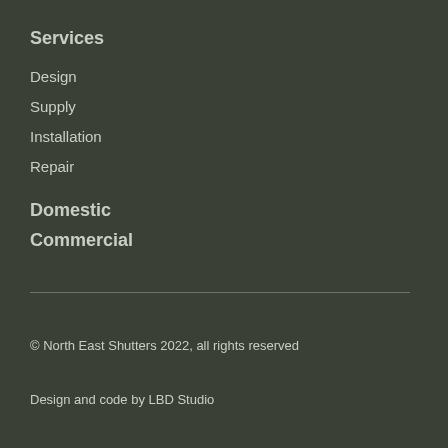Services
Design
Supply
Installation
Repair
Domestic
Commercial
© North East Shutters 2022, all rights reserved
Design and code by LBD Studio